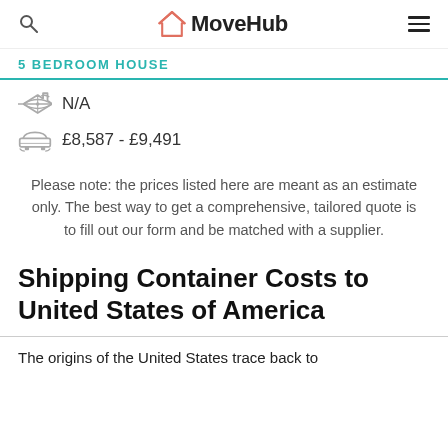MoveHub
5 BEDROOM HOUSE
N/A
£8,587 - £9,491
Please note: the prices listed here are meant as an estimate only. The best way to get a comprehensive, tailored quote is to fill out our form and be matched with a supplier.
Shipping Container Costs to United States of America
The origins of the United States trace back to